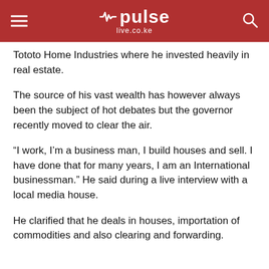pulse live.co.ke
Tototo Home Industries where he invested heavily in real estate.
The source of his vast wealth has however always been the subject of hot debates but the governor recently moved to clear the air.
“I work, I’m a business man, I build houses and sell. I have done that for many years, I am an International businessman.” He said during a live interview with a local media house.
He clarified that he deals in houses, importation of commodities and also clearing and forwarding.